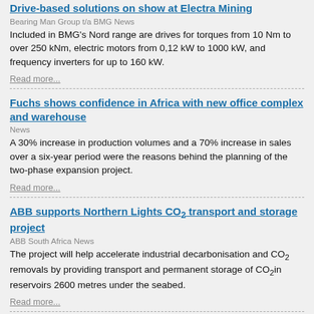Drive-based solutions on show at Electra Mining
Bearing Man Group t/a BMG News
Included in BMG's Nord range are drives for torques from 10 Nm to over 250 kNm, electric motors from 0,12 kW to 1000 kW, and frequency inverters for up to 160 kW.
Read more...
Fuchs shows confidence in Africa with new office complex and warehouse
News
A 30% increase in production volumes and a 70% increase in sales over a six-year period were the reasons behind the planning of the two-phase expansion project.
Read more...
ABB supports Northern Lights CO2 transport and storage project
ABB South Africa News
The project will help accelerate industrial decarbonisation and CO2 removals by providing transport and permanent storage of CO2 in reservoirs 2600 metres under the seabed.
Read more...